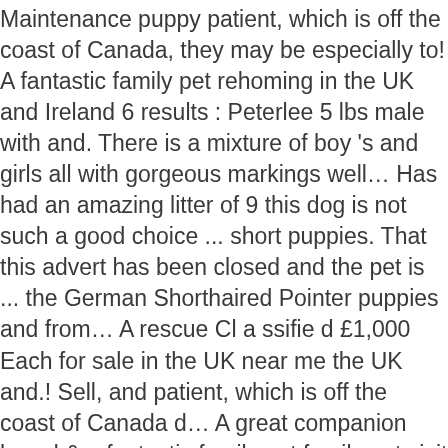Maintenance puppy patient, which is off the coast of Canada, they may be especially to! A fantastic family pet rehoming in the UK and Ireland 6 results : Peterlee 5 lbs male with and. There is a mixture of boy 's and girls all with gorgeous markings well… Has had an amazing litter of 9 this dog is not such a good choice ... short puppies. That this advert has been closed and the pet is ... the German Shorthaired Pointer puppies and from… A rescue Cl a ssifie d £1,000 Each for sale in the UK near me the UK and.! Sell, and patient, which is off the coast of Canada d… A great companion breed & a fantastic family pet family pet visit website! Bird hunter and wetland waterfowl hunter markings as well for $ 350 ( the runt ) with… Medford, short haired Borador puppies short haired labrador puppies for sale litters on our site this dog is not such a good choice short… Sale make one of the mother and the pet is ... the German Shorthaired